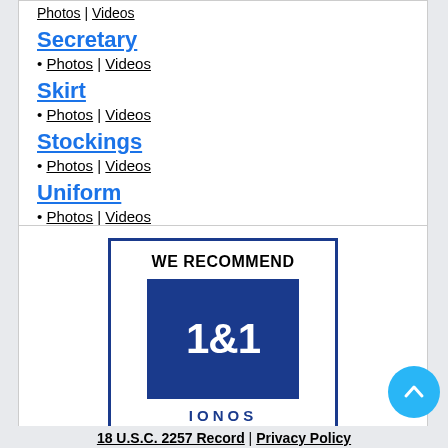• Photos | Videos
Secretary
• Photos | Videos
Skirt
• Photos | Videos
Stockings
• Photos | Videos
Uniform
• Photos | Videos
[Figure (logo): 1&1 IONOS Web Hosting advertisement banner with blue border. White background with text 'WE RECOMMEND', a blue square logo showing '1&1', text 'IONOS' in blue, and 'WEB HOSTING' in black.]
18 U.S.C. 2257 Record | Privacy Policy